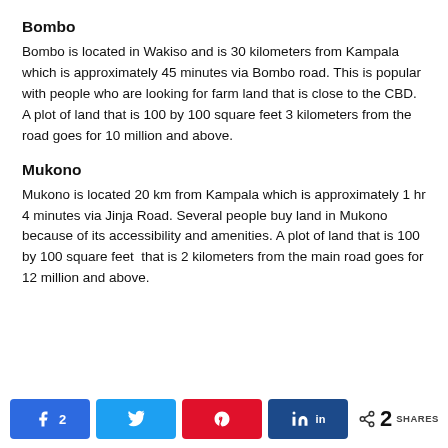Bombo
Bombo is located in Wakiso and is 30 kilometers from Kampala which is approximately 45 minutes via Bombo road. This is popular with people who are looking for farm land that is close to the CBD. A plot of land that is 100 by 100 square feet 3 kilometers from the road goes for 10 million and above.
Mukono
Mukono is located 20 km from Kampala which is approximately 1 hr 4 minutes via Jinja Road. Several people buy land in Mukono because of its accessibility and amenities. A plot of land that is 100 by 100 square feet  that is 2 kilometers from the main road goes for 12 million and above.
Share buttons: Facebook 2, Twitter, Pinterest, LinkedIn | 2 SHARES